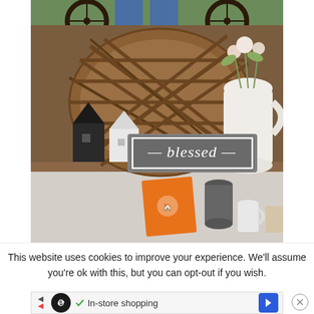[Figure (photo): Top partial photo showing wheels of a wagon or cart outdoors on grass]
[Figure (photo): Farmhouse shelf decor with a woven basket, white pitcher with flowers, a small house figurine, and a framed 'blessed' sign in script lettering, with an orange card and mugs on the lower shelf]
This website uses cookies to improve your experience. We'll assume you're ok with this, but you can opt-out if you wish.
[Figure (infographic): Advertisement bar with infinity logo, checkmark, 'In-store shopping' text, and navigation arrows]